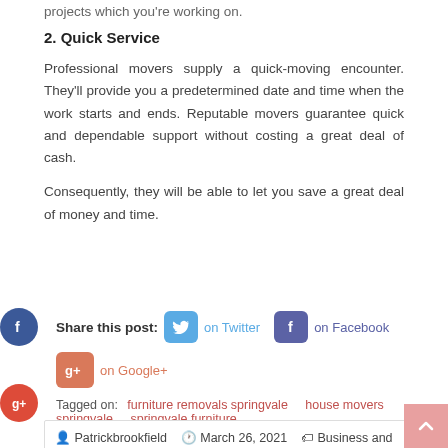projects which you're working on.
2. Quick Service
Professional movers supply a quick-moving encounter. They'll provide you a predetermined date and time when the work starts and ends. Reputable movers guarantee quick and dependable support without costing a great deal of cash.
Consequently, they will be able to let you save a great deal of money and time.
Share this post:  on Twitter  on Facebook  on Google+
Tagged on: furniture removals springvale   house movers springvale   springvale furniture
Patrickbrookfield   March 26, 2021   Business and Management